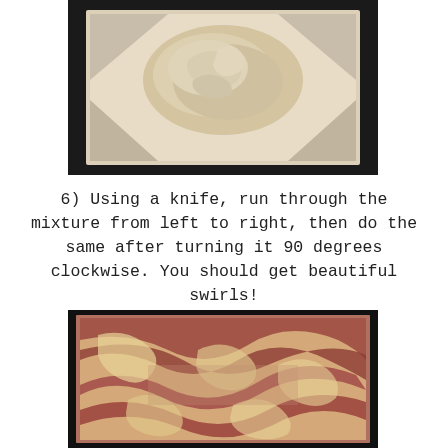[Figure (photo): Photo of pale dough/batter mixture in a baking pan lined with white parchment paper, viewed from above.]
6) Using a knife, run through the mixture from left to right, then do the same after turning it 90 degrees clockwise. You should get beautiful swirls!
[Figure (photo): Photo of swirled red/chocolate and pale yellow batter in a parchment-lined baking pan, showing beautiful marble swirl patterns.]